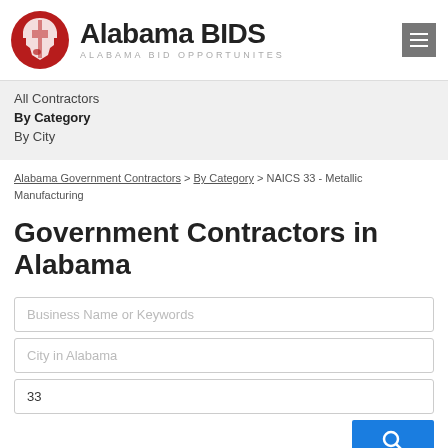[Figure (logo): Alabama BIDS logo with red circle containing Alabama state silhouette, text 'Alabama BIDS' and subtitle 'ALABAMA BID OPPORTUNITES']
All Contractors
By Category
By City
Alabama Government Contractors > By Category > NAICS 33 - Metallic Manufacturing
Government Contractors in Alabama
Business Name or Keywords
City in Alabama
33